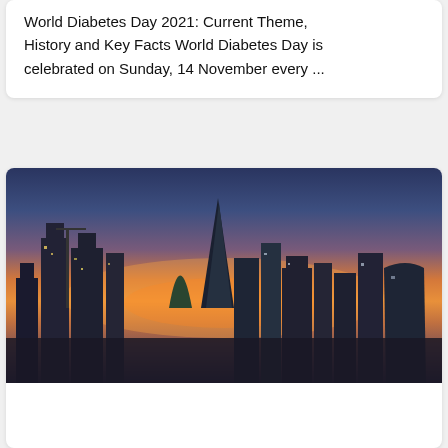World Diabetes Day 2021: Current Theme, History and Key Facts World Diabetes Day is celebrated on Sunday, 14 November every ...
[Figure (photo): City skyline at sunset/dusk showing modern skyscrapers including the Gherkin and other London landmarks with dramatic orange and purple sky]
This website uses cookies to ensure you get the best experience on our website. More Info X
Game Changer For Your Business
29 October 2021  –  No Comments